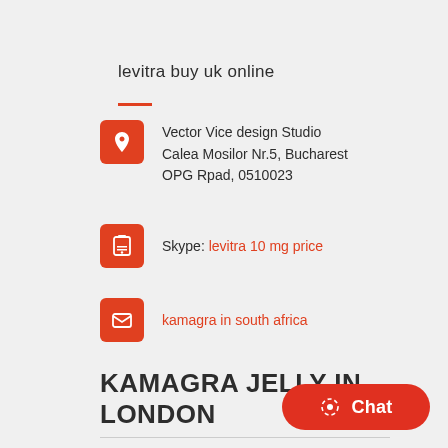levitra buy uk online
Vector Vice design Studio
Calea Mosilor Nr.5, Bucharest
OPG Rpad, 0510023
Skype: levitra 10 mg price
kamagra in south africa
KAMAGRA JELLY IN LONDON